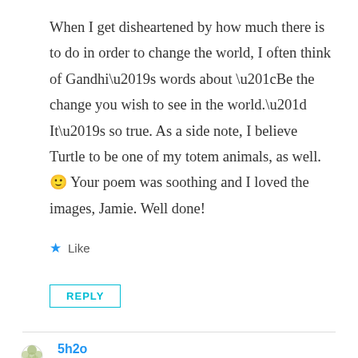When I get disheartened by how much there is to do in order to change the world, I often think of Gandhi’s words about “Be the change you wish to see in the world.” It’s so true. As a side note, I believe Turtle to be one of my totem animals, as well. 🙂 Your poem was soothing and I loved the images, Jamie. Well done!
★ Like
REPLY
5h2o
September 25, 2014 at 8:10 pm